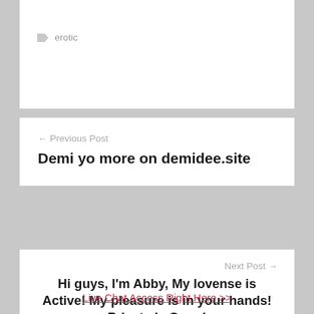erotic
← Previous Post
Demi yo more on demidee.site
Next Post →
Hi guys, I'm Abby, My lovense is Active! My pleasure is in your hands! Private is Open!
Live Chat Access Right Here >>